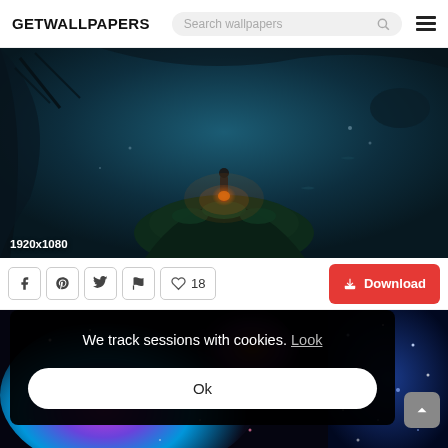GETWALLPAPERS | Search wallpapers
[Figure (illustration): Dark underwater/cave fantasy scene with a figure standing on a rocky formation with glowing orange light, surrounded by deep teal-blue darkness. Resolution label 1920x1080 in bottom left.]
1920x1080
[Figure (screenshot): Social share buttons row: Facebook, Pinterest, Twitter, Flag, Heart (18 likes), and a red Download button]
We track sessions with cookies. Look
Ok
[Figure (photo): Bottom strip showing two partial wallpaper thumbnails: left is a colorful galaxy/nebula, right is a deep blue starfield]